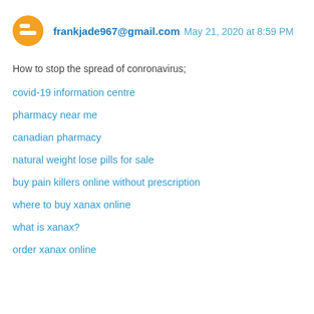frankjade967@gmail.com May 21, 2020 at 8:59 PM
How to stop the spread of conronavirus;
covid-19 information centre
pharmacy near me
canadian pharmacy
natural weight lose pills for sale
buy pain killers online without prescription
where to buy xanax online
what is xanax?
order xanax online